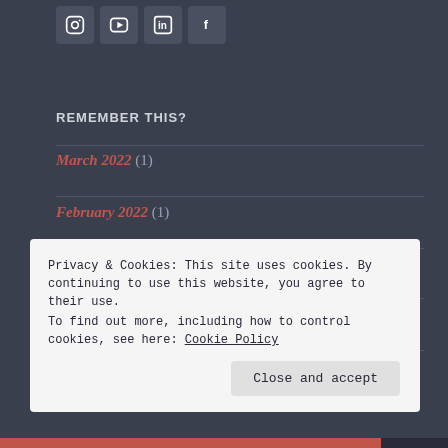[Figure (other): Social media icon buttons: Instagram, YouTube, LinkedIn, Facebook]
REMEMBER THIS?
March 2022 (1)
February 2022 (1)
January 2022 (1)
December 2021 (1)
November 2021 (2)
Privacy & Cookies: This site uses cookies. By continuing to use this website, you agree to their use.
To find out more, including how to control cookies, see here: Cookie Policy
Close and accept